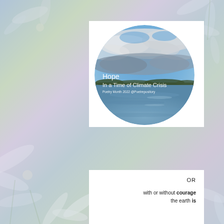[Figure (photo): Circular cropped photo of a lake/reservoir under a dramatic blue sky with white and grey clouds, with a distant treeline on the horizon. Text overlaid on the lower-left of the circle reads: 'Hope / In a Time of Climate Crisis / Poetry Month 2022 @Poetrepository']
Hope
In a Time of Climate Crisis
Poetry Month 2022 @Poetrepository
OR

with or without courage
the earth is